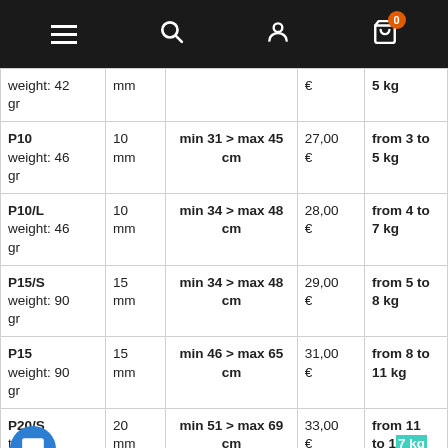Navigation bar with menu, search, profile, and cart (0 items)
| Model | Size | Circumference | Price | Load |
| --- | --- | --- | --- | --- |
| weight: 42 gr | mm |  | € | 5 kg |
| P10 weight: 46 gr | 10 mm | min 31 > max 45 cm | 27,00 € | from 3 to 5 kg |
| P10/L weight: 46 gr | 10 mm | min 34 > max 48 cm | 28,00 € | from 4 to 7 kg |
| P15/S weight: 90 gr | 15 mm | min 34 > max 48 cm | 29,00 € | from 5 to 8 kg |
| P15 weight: 90 gr | 15 mm | min 46 > max 65 cm | 31,00 € | from 8 to 11 kg |
| P20/S weight: [obscured] | 20 mm | min 51 > max 69 cm | 33,00 € | from 11 to 17 kg |
| P20 | 20 | min 57 > max 81 cm | 35,00 | from 17 |